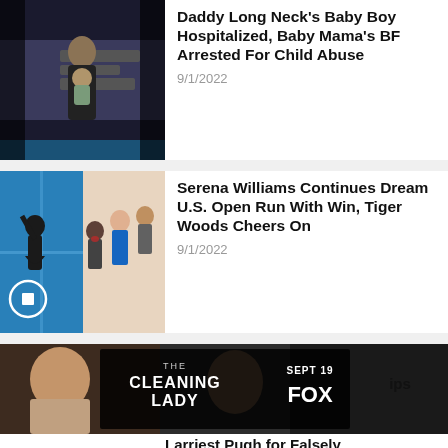[Figure (photo): Person holding a baby at an event with banners in background]
Daddy Long Neck's Baby Boy Hospitalized, Baby Mama's BF Arrested For Child Abuse
9/1/2022
[Figure (photo): Collage: Serena Williams on tennis court and crowd cheering including Tiger Woods]
Serena Williams Continues Dream U.S. Open Run With Win, Tiger Woods Cheers On
9/1/2022
[Figure (photo): Advertisement banner for The Cleaning Lady on FOX Sept 19, with partial news article below]
Larriest Pugh for Falsely Saying Cissy Houston